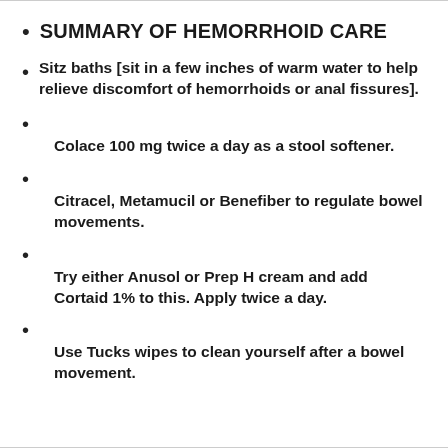SUMMARY OF HEMORRHOID CARE
Sitz baths [sit in a few inches of warm water to help relieve discomfort of hemorrhoids or anal fissures].
Colace 100 mg twice a day as a stool softener.
Citracel, Metamucil or Benefiber to regulate bowel movements.
Try either Anusol or Prep H cream and add Cortaid 1% to this. Apply twice a day.
Use Tucks wipes to clean yourself after a bowel movement.